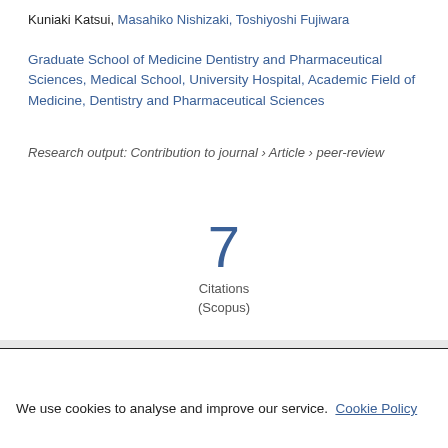Kuniaki Katsui, Masahiko Nishizaki, Toshiyoshi Fujiwara
Graduate School of Medicine Dentistry and Pharmaceutical Sciences, Medical School, University Hospital, Academic Field of Medicine, Dentistry and Pharmaceutical Sciences
Research output: Contribution to journal › Article › peer-review
7
Citations
(Scopus)
We use cookies to analyse and improve our service. Cookie Policy